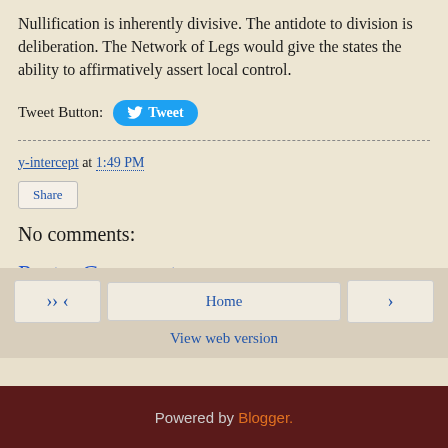Nullification is inherently divisive. The antidote to division is deliberation. The Network of Legs would give the states the ability to affirmatively assert local control.
Tweet Button: [Tweet button]
y-intercept at 1:49 PM
Share
No comments:
Post a Comment
< Home > View web version
Powered by Blogger.